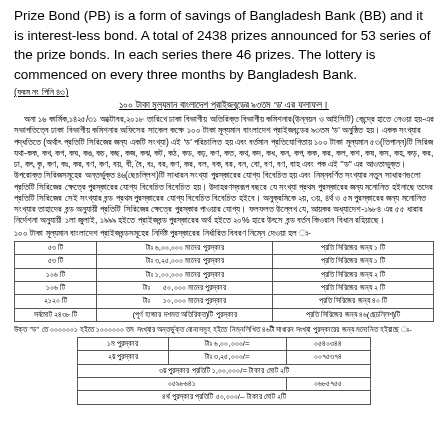Prize Bond (PB) is a form of savings of Bangladesh Bank (BB) and it is interest-less bond. A total of 2438 prizes announced for 53 series of the prize bonds. In each series there 46 prizes. The lottery is commenced on every three months by Bangladesh Bank.
(ফরম নং পিনি ৪৩)
১০০ টাকা মূল্যমান বাংলাদেশ প্রাইজবন্ডের ৯৩তম 'ড' এর ফলাফল।
অনা ১৬ কার্মিক,১৪২৫/৩১ অক্টোবর,২০১৮ তারিখে ঢাকা বিভাগীয় অতিরিক্ত বিভাগীয় কমিশনার(উন্নয়ন ও আইসিটি) কেন্দ্রে হাতে নেওয়া হয়-এর সভাপতিত্বে ঢাকা বিভাগীয় কমিশনার অফিসের সাকেল কক্ষে ১০০ টাকা মূল্যমান বাংলাদেশ প্রাইজবন্ডের ৯৩তম 'ড' অনুষ্ঠিত হয়। একক সংখ্যার পদ্ধতিতে (অর্থাৎ প্রতিটি সিরিজের জন্য একটি সংখ্যা) এই 'ড' পরিচালিত হয় এবং বর্তমান প্রতিযোগিতায় ১০০ টাকা মূল্যমান ৫৩(তিপান্ন)টি সিরিজ যথা-কক, কখ, কগ, কঘ, কঙ, কচ, কছ, কজ, কঝ, কট, কঠ, কড, কঢ়, কণ, কত, কথ, কদ, কধ, কন, কপ, কক, কর, কল, কশ, কষ, কস, কহ, কড়, কর, ঢা, কৎ, কৃ, কণ, কঃ, কর, বণ, কণ, বয়, বী, বৈ, বঃ, বর, কণ, কর, বল, বক, বর, বন, বো, বণ, বণ, বাহ এবং পক এই ''ড'' এর আওতাভুক্ত। উপরোক্ত সিরিজসমূহের অন্তর্ভুক্ত ৪৬(ছেচল্লিশ)টি সাধারন সংখ্যা পুরস্কারের যোগ্য বিবেচিত হয় এবং নিম্নবর্ণিত সংখ্যার নতুন সাধারণগুলো প্রতিটি সিরিজের ক্ষেত্রে পুরস্কারের যোগ্য বিবেচিত বিবেচিত হয়।
১০০ টাকা মূল্যমান বাংলাদেশ প্রাইজবন্ডসমূহের নির্দিষ্ট পুরস্কারের নির্ধারিত বিবরণ নিম্নে দেওয়া হল ঃ-
|  |  |  |
| --- | --- | --- |
| ৫৩ টি | টাঃ ৬,০০,০০০  মানের পুরস্কার | প্রতি সিরিজের জন্য  ১ টি |
| ৫৩ টি | টাঃ ৩,২৫,০০০  মানের পুরস্কার | প্রতি সিরিজের জন্য  ১ টি |
| ১০৬ টি | টাঃ ১,০০,০০০  মানের পুরস্কার | প্রতি সিরিজের জন্য  ২ টি |
| ১০৬ টি | টাঃ      ৫০,০০০  মানের পুরস্কার | প্রতি সিরিজের জন্য  ২ টি |
| ২১২০ টি | টাঃ      ১০,০০০  মানের পুরস্কার | প্রতি সিরিজের জন্য  ৪০ টি |
| সর্বমোট ২৪৩৮ টি | (পূর্ণ  হাজার দশমত অতিরিক্ত)টি পুরস্কার | প্রতি সিরিজের  জন্য  ৪৬(ছেচল্লিশ)টি |
উক্ত ''ড'' তে ০০০০০০১ হইতে ১০০০০০০ তম সংখ্যার অন্তর্ভুক্ত বোনাসমূহ হইতে নিম্নলিখিত ৪৬টী সাধারন সংখ্যা পুরস্কারের জন্য মনোনিত হইয়াছে ঃ-
|  |  |  |
| --- | --- | --- |
| ১ম পুরস্কার | টাঃ ৬,০০,০০০/= | ০৫৪০৩৪৪ |
| ২য় পুরস্কার | টাঃ ৩,২৫,০০০/= | ০০৭৫৩৭৪ |
| ৩য় পুরস্কার  প্রতিটি ১,০০,০০০/= টাকার মোট ২টি |  |  |
| ০৫৯৮৬৪১ | ০৬৮৫৭৫৫ |  |
| ৪র্থ পুরস্কার  প্রতিটি ৫০,০০০/– টাকার মোট ২টি |  |  |